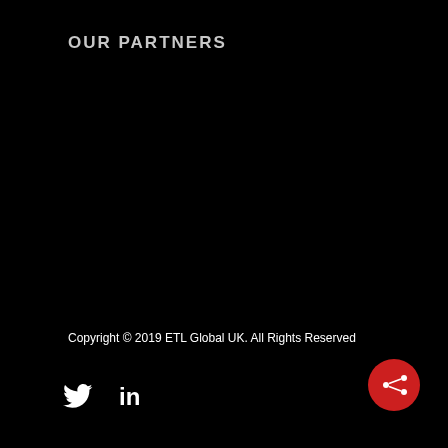OUR PARTNERS
Copyright © 2019 ETL Global UK. All Rights Reserved
[Figure (illustration): Twitter bird icon (white) and LinkedIn 'in' icon (white) as social media links at bottom left]
[Figure (illustration): Red circular share button with share/network icon in white at bottom right]